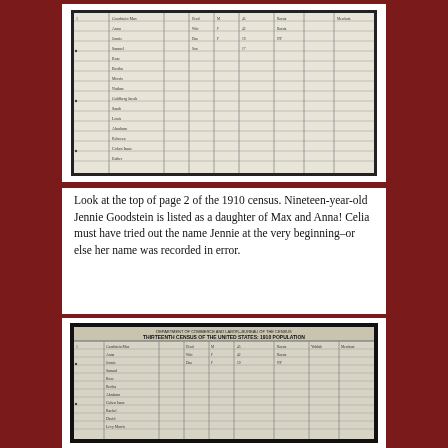[Figure (photo): Scanned image of a 1910 US Census document page showing handwritten entries in tabular columns with multiple rows of names and data]
Look at the top of page 2 of the 1910 census. Nineteen-year-old Jennie Goodstein is listed as a daughter of Max and Anna! Celia must have tried out the name Jennie at the very beginning–or else her name was recorded in error.
[Figure (photo): Scanned image of the Thirteenth Census of the United States 1910 Population schedule, showing handwritten entries in a tabular census form with column headers and multiple rows of population data]